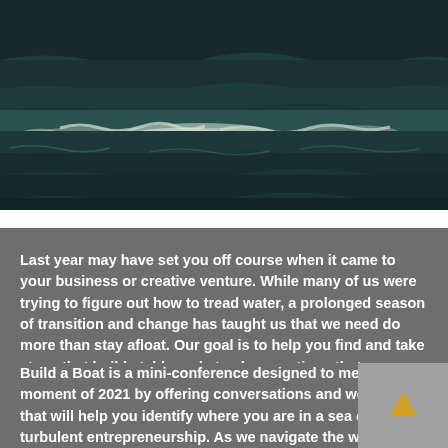[Figure (photo): Ocean waves photo showing turbulent dark teal/green water with white foam crests]
Last year may have set you off course when it came to your business or creative venture. While many of us were trying to figure out how to tread water, a prolonged season of transition and change has taught us that we need do more than stay afloat. Our goal is to help you find and take steps that build stable and steady operations that can survive changes during this challenging time.
Build a Boat is a mini-conference designed to meet the moment of 2021 by offering conversations and workshops that will help you identify where you are in a sea of turbulent entrepreneurship. As we navigate the waves of